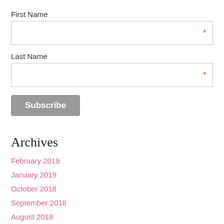First Name
Last Name
Subscribe
Archives
February 2019
January 2019
October 2018
September 2018
August 2018
June 2018
March 2018
January 2018